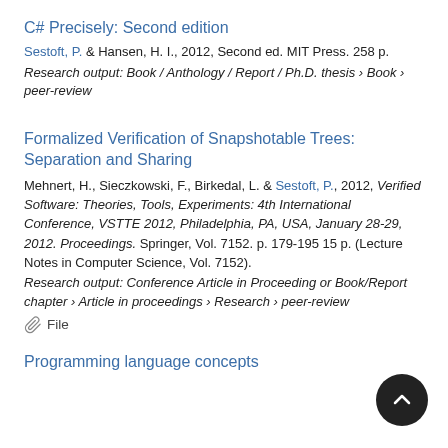C# Precisely: Second edition
Sestoft, P. & Hansen, H. I., 2012, Second ed. MIT Press. 258 p.
Research output: Book / Anthology / Report / Ph.D. thesis › Book › peer-review
Formalized Verification of Snapshotable Trees: Separation and Sharing
Mehnert, H., Sieczkowski, F., Birkedal, L. & Sestoft, P., 2012, Verified Software: Theories, Tools, Experiments: 4th International Conference, VSTTE 2012, Philadelphia, PA, USA, January 28-29, 2012. Proceedings. Springer, Vol. 7152. p. 179-195 15 p. (Lecture Notes in Computer Science, Vol. 7152).
Research output: Conference Article in Proceeding or Book/Report chapter › Article in proceedings › Research › peer-review
📎 File
Programming language concepts